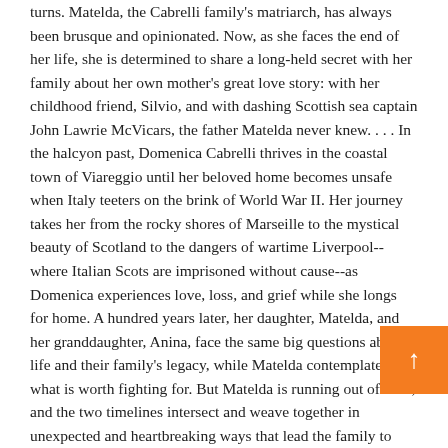turns. Matelda, the Cabrelli family's matriarch, has always been brusque and opinionated. Now, as she faces the end of her life, she is determined to share a long-held secret with her family about her own mother's great love story: with her childhood friend, Silvio, and with dashing Scottish sea captain John Lawrie McVicars, the father Matelda never knew. . . . In the halcyon past, Domenica Cabrelli thrives in the coastal town of Viareggio until her beloved home becomes unsafe when Italy teeters on the brink of World War II. Her journey takes her from the rocky shores of Marseille to the mystical beauty of Scotland to the dangers of wartime Liverpool--where Italian Scots are imprisoned without cause--as Domenica experiences love, loss, and grief while she longs for home. A hundred years later, her daughter, Matelda, and her granddaughter, Anina, face the same big questions about life and their family's legacy, while Matelda contemplates what is worth fighting for. But Matelda is running out of time, and the two timelines intersect and weave together in unexpected and heartbreaking ways that lead the family to
[Figure (other): Orange square button with upward-pointing arrow icon, positioned in the lower-right area of the page]